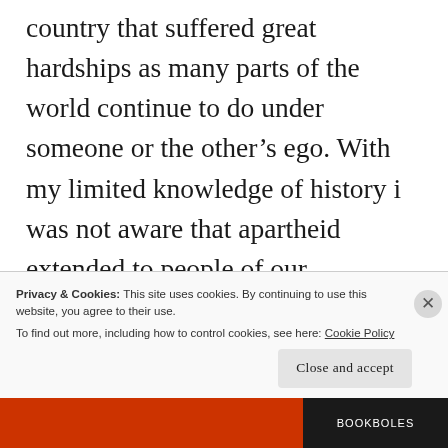country that suffered great hardships as many parts of the world continue to do under someone or the other's ego. With my limited knowledge of history i was not aware that apartheid extended to people of our generation and the thought that something most of the world would vocally condemn was
Privacy & Cookies: This site uses cookies. By continuing to use this website, you agree to their use.
To find out more, including how to control cookies, see here: Cookie Policy
Close and accept